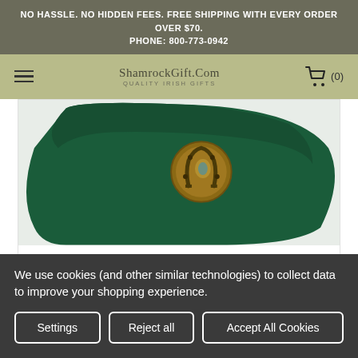NO HASSLE. NO HIDDEN FEES. FREE SHIPPING WITH EVERY ORDER OVER $70.
PHONE: 800-773-0942
ShamrockGift.Com QUALITY IRISH GIFTS (0)
[Figure (photo): Close-up of a dark green Guinness Ireland Opener Cap showing a bronze horseshoe bottle opener emblem on the cap.]
Guinness Ireland Opener Cap
$21.95
We use cookies (and other similar technologies) to collect data to improve your shopping experience.
Settings | Reject all | Accept All Cookies